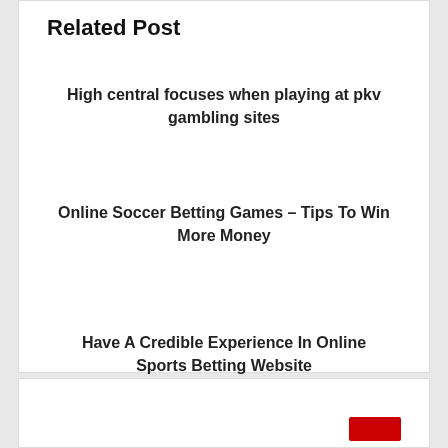Related Post
High central focuses when playing at pkv gambling sites
Online Soccer Betting Games – Tips To Win More Money
Have A Credible Experience In Online Sports Betting Website